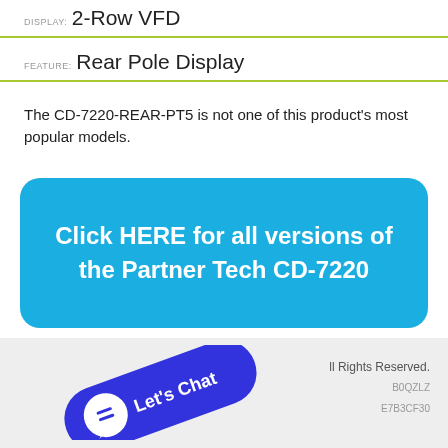Display: 2-Row VFD
Feature: Rear Pole Display
The CD-7220-REAR-PT5 is not one of this product's most popular models.
Click HERE for all versions of the Partner Tech CD-7220
[Figure (other): Blue 'Let's Chat' chat widget pill button with speech bubble icon, rotated diagonally]
All Rights Reserved. B0QZLZ E7B3CF30